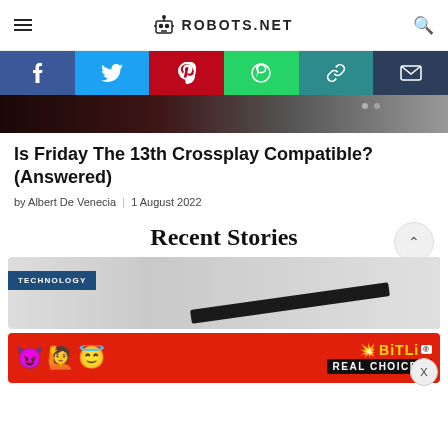ROBOTS.NET
[Figure (infographic): Social media share bar with Facebook, Twitter, Pinterest, WhatsApp, copy link, and email buttons]
[Figure (photo): Partial hero image strip showing a dark gaming-related scene]
Is Friday The 13th Crossplay Compatible? (Answered)
by Albert De Venecia | 1 August 2022
Recent Stories
[Figure (photo): Technology category card showing a dark electronic device on white background with TECHNOLOGY label]
[Figure (infographic): BitLife advertisement banner with emoji and REAL CHOICES text]